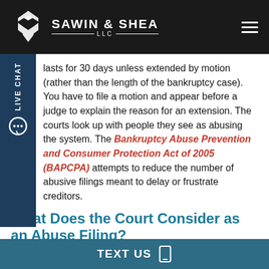SAWIN & SHEA LLC
lasts for 30 days unless extended by motion (rather than the length of the bankruptcy case). You have to file a motion and appear before a judge to explain the reason for an extension. The courts look up with people they see as abusing the system. The Bankruptcy Abuse Prevention and Consumer Protection Act of 2005 (BAPCPA) attempts to reduce the number of abusive filings meant to delay or frustrate creditors.
What Does the Court Consider as an Abuse Filing?
Serial Filers are defined as those who su...
TEXT US